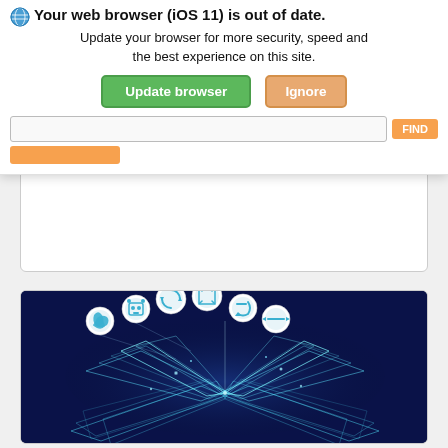Your web browser (iOS 11) is out of date. Update your browser for more security, speed and the best experience on this site.
[Figure (screenshot): Browser update warning popup with globe icon, bold title 'Your web browser (iOS 11) is out of date.', body text, green 'Update browser' button and orange 'Ignore' button. Below, a search bar with 'Search by Keyword' placeholder, keywords field, and orange FIND button. A partially obscured image card below shows a digital glowing open book with tech icons floating above it on a dark blue background.]